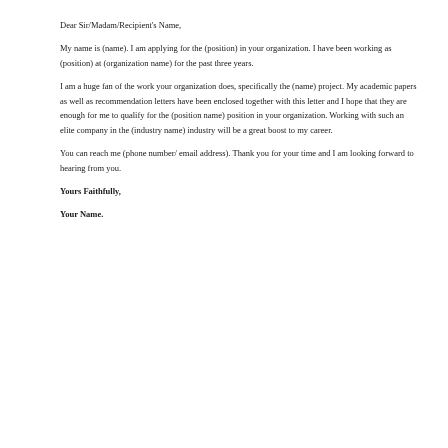Dear Sir/Madam/Recipient's Name,
My name is (name). I am applying for the (position) in your organization. I have been working as (position) at (organization name) for the past three years.
I am a huge fan of the work your organization does, specifically the (name) project. My academic papers as well as recommendation letters have been enclosed together with this letter and I hope that they are enough for me to qualify for the (position name) position in your organization. Working with such an elite company in the (industry name) industry will be a great boost to my career.
You can reach me (phone number/ email address). Thank you for your time and I am looking forward to hearing from you.
Yours Faithfully,
Your Name.